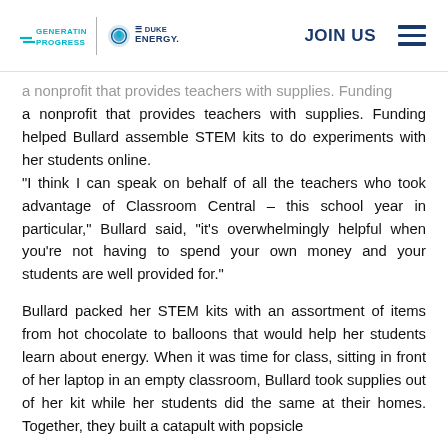GENERATING PROGRESS | DUKE ENERGY. | JOIN US
a nonprofit that provides teachers with supplies. Funding helped Bullard assemble STEM kits to do experiments with her students online. “I think I can speak on behalf of all the teachers who took advantage of Classroom Central – this school year in particular,” Bullard said, “it’s overwhelmingly helpful when you’re not having to spend your own money and your students are well provided for.”
Bullard packed her STEM kits with an assortment of items from hot chocolate to balloons that would help her students learn about energy. When it was time for class, sitting in front of her laptop in an empty classroom, Bullard took supplies out of her kit while her students did the same at their homes. Together, they built a catapult with popsicle